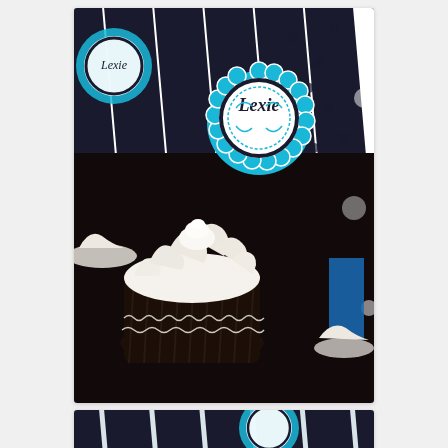[Figure (photo): Close-up photograph of dark chocolate cupcakes with white cream frosting and a teal/turquoise decorative topper circle reading 'Lexie', against a black and white striped background with polka dots.]
[Figure (photo): Partial photograph showing black and white diagonal stripes with teal cupcake toppers/decorations partially visible.]